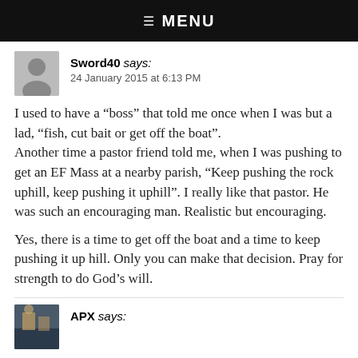☰ MENU
Sword40 says:
24 January 2015 at 6:13 PM
I used to have a “boss” that told me once when I was but a lad, “fish, cut bait or get off the boat”.
Another time a pastor friend told me, when I was pushing to get an EF Mass at a nearby parish, “Keep pushing the rock uphill, keep pushing it uphill”. I really like that pastor. He was such an encouraging man. Realistic but encouraging.
Yes, there is a time to get off the boat and a time to keep pushing it up hill. Only you can make that decision. Pray for strength to do God’s will.
APX says: